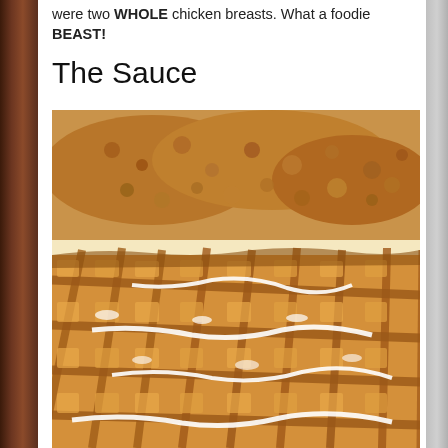were two WHOLE chicken breasts. What a foodie BEAST!
The Sauce
[Figure (photo): Close-up photo of a golden waffle topped with crispy fried chicken and white sauce/glaze drizzled over it, on a white surface]